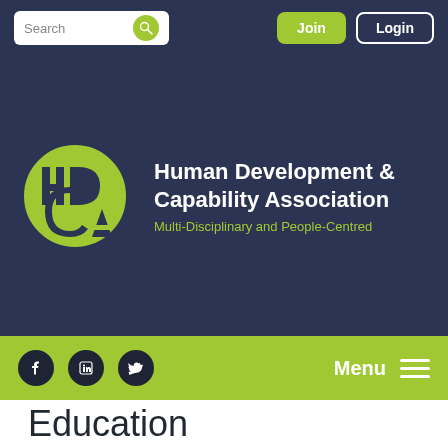Search | Join | Login
[Figure (logo): HDCA circular logo with green background and dark geometric letter shapes HD/CA]
Human Development & Capability Association
Multi-Disciplinary and People-Centred
[Figure (infographic): Social media icons: Facebook, LinkedIn, Twitter on green bar with Menu hamburger icon]
Education